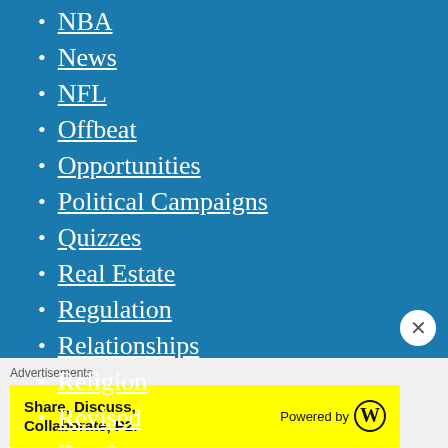NBA
News
NFL
Offbeat
Opportunities
Political Campaigns
Quizzes
Real Estate
Regulation
Relationships
Religion
Revised
Russia
School reformers
Advertisements
Share, Discuss, Collaborate, P2. Powered by [WordPress logo]